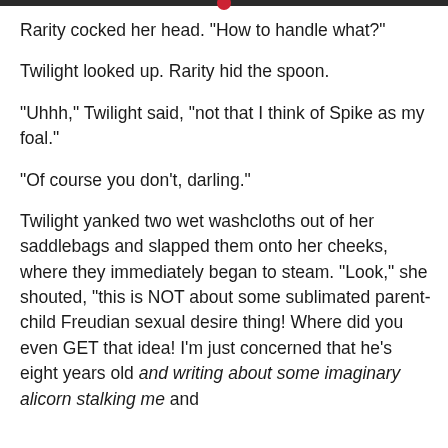Rarity cocked her head. "How to handle what?"
Twilight looked up. Rarity hid the spoon.
"Uhhh," Twilight said, "not that I think of Spike as my foal."
"Of course you don't, darling."
Twilight yanked two wet washcloths out of her saddlebags and slapped them onto her cheeks, where they immediately began to steam. "Look," she shouted, "this is NOT about some sublimated parent-child Freudian sexual desire thing! Where did you even GET that idea! I'm just concerned that he's eight years old and writing about some imaginary alicorn stalking me and